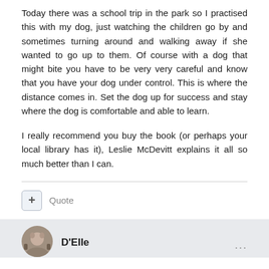Today there was a school trip in the park so I practised this with my dog, just watching the children go by and sometimes turning around and walking away if she wanted to go up to them. Of course with a dog that might bite you have to be very very careful and know that you have your dog under control. This is where the distance comes in. Set the dog up for success and stay where the dog is comfortable and able to learn.
I really recommend you buy the book (or perhaps your local library has it), Leslie McDevitt explains it all so much better than I can.
Quote
D'Elle